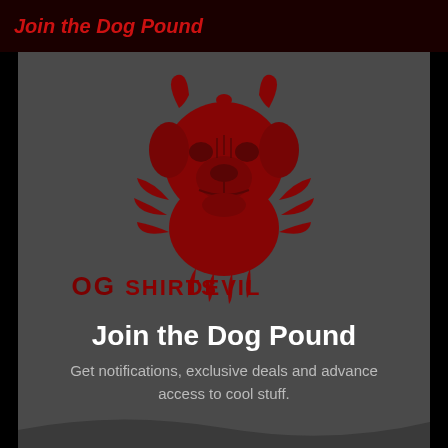Join the Dog Pound
[Figure (logo): Devil Dog Shirts logo: a demonic bulldog face with horns, surrounded by spikes, in dark red on dark gray background, with text 'DEVIL DOG SHIRTS' below in stylized letters]
Join the Dog Pound
Get notifications, exclusive deals and advance access to cool stuff.